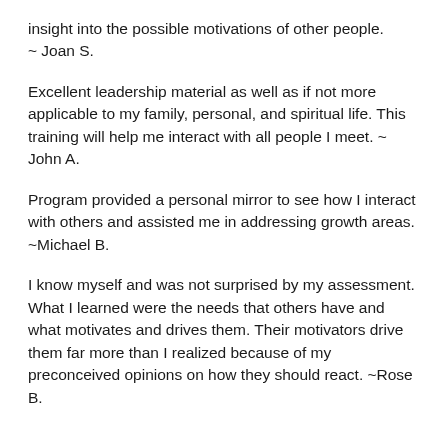insight into the possible motivations of other people. ~ Joan S.
Excellent leadership material as well as if not more applicable to my family, personal, and spiritual life. This training will help me interact with all people I meet. ~ John A.
Program provided a personal mirror to see how I interact with others and assisted me in addressing growth areas. ~Michael B.
I know myself and was not surprised by my assessment. What I learned were the needs that others have and what motivates and drives them. Their motivators drive them far more than I realized because of my preconceived opinions on how they should react. ~Rose B.